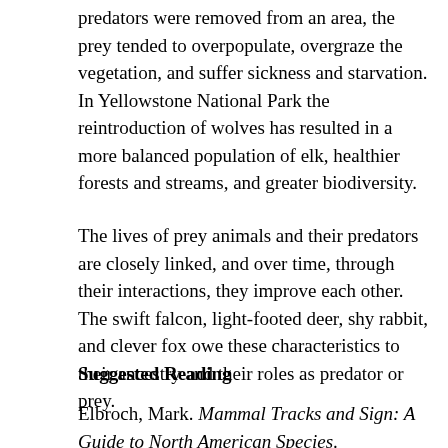predators were removed from an area, the prey tended to overpopulate, overgraze the vegetation, and suffer sickness and starvation. In Yellowstone National Park the reintroduction of wolves has resulted in a more balanced population of elk, healthier forests and streams, and greater biodiversity.
The lives of prey animals and their predators are closely linked, and over time, through their interactions, they improve each other. The swift falcon, light-footed deer, shy rabbit, and clever fox owe these characteristics to their ancestry and their roles as predator or prey.
Suggested Reading
Elbroch, Mark. Mammal Tracks and Sign: A Guide to North American Species. Mechanicsburg, PA: